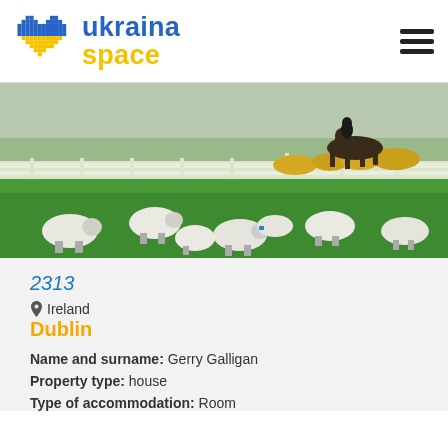ukraina space
[Figure (photo): Outdoor photo showing sheep grazing on green grass in the foreground, with a horse and rider behind a white fence, and a wide landscape in the background.]
2313
Ireland
Dublin
Name and surname: Gerry Galligan
Property type: house
Type of accommodation: Room